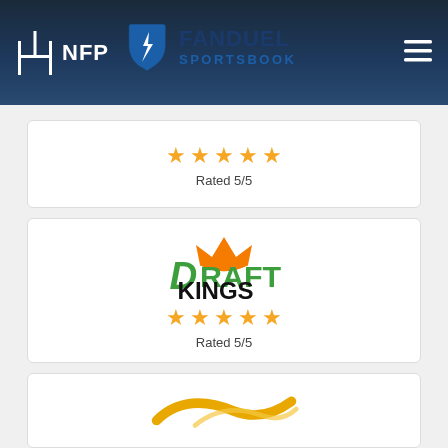[Figure (logo): NFP (National Football Post) and FanDuel Sportsbook navigation header with hamburger menu]
[Figure (logo): FanDuel Sportsbook card with 5 orange stars and Rated 5/5]
Rated 5/5
[Figure (logo): DraftKings logo card with orange crown, green and black DRAFTKINGS text, 5 orange stars, Rated 5/5]
Rated 5/5
[Figure (logo): Partial third card showing a yellow/orange curved swoosh logo (BetRivers or similar)]